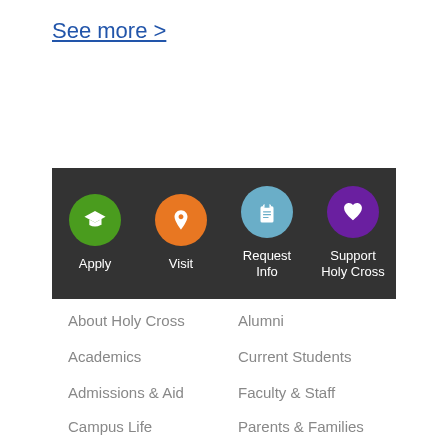See more >
[Figure (infographic): Dark banner with four circular icons: Apply (green, graduation cap), Visit (orange, map pin), Request Info (blue, clipboard), Support Holy Cross (purple, heart). Each icon has a white label below it.]
About Holy Cross
Alumni
Academics
Current Students
Admissions & Aid
Faculty & Staff
Campus Life
Parents & Families
Faith & Service
Visitors